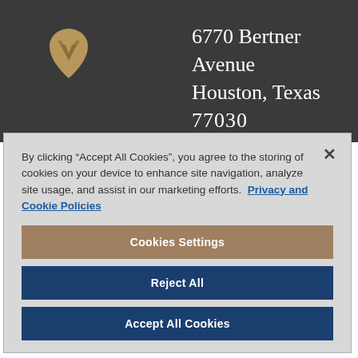[Figure (logo): Gold/tan shield-like heart logo with a stylized V or bird shape inside, on dark background]
6770 Bertner Avenue Houston, Texas 77030
By clicking “Accept All Cookies”, you agree to the storing of cookies on your device to enhance site navigation, analyze site usage, and assist in our marketing efforts. Privacy and Cookie Policies
Cookies Settings
Reject All
Accept All Cookies